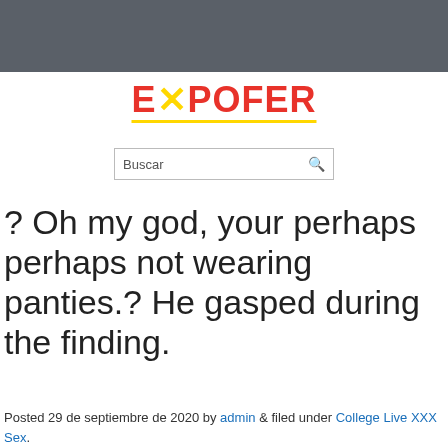[Figure (logo): EXPOFER logo with red text and yellow X accent, underlined in yellow]
Buscar
? Oh my god, your perhaps perhaps not wearing panties.? He gasped during the finding.
Posted 29 de septiembre de 2020 by admin & filed under College Live XXX Sex.